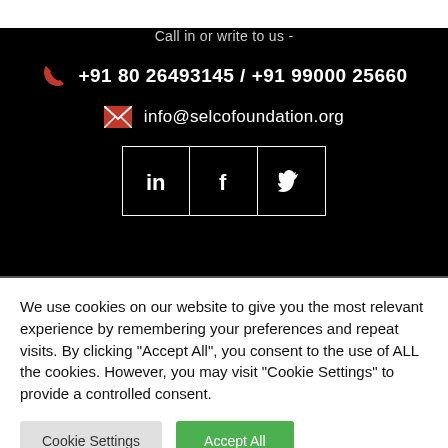Call in or write to us -
+91 80 26493145 / +91 99000 25660
info@selcofoundation.org
[Figure (other): Social media icons: LinkedIn, Facebook, Twitter in white bordered boxes on black background]
We use cookies on our website to give you the most relevant experience by remembering your preferences and repeat visits. By clicking "Accept All", you consent to the use of ALL the cookies. However, you may visit "Cookie Settings" to provide a controlled consent.
Cookie Settings
Accept All